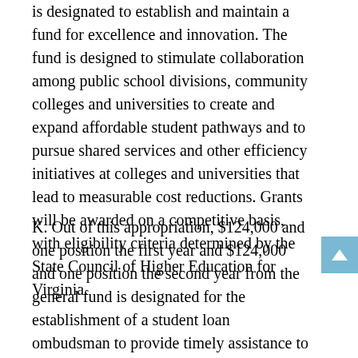is designated to establish and maintain a fund for excellence and innovation. The fund is designed to stimulate collaboration among public school divisions, community colleges and universities to create and expand affordable student pathways and to pursue shared services and other efficiency initiatives at colleges and universities that lead to measurable cost reductions. Grants will be awarded on a competitive basis, with eligibility criteria determined by the State Council of Higher Education for Virginia.
K. Out of this appropriation, $124,000 and one position the first year and $124,000 and one position the second year from the general fund is designated for the establishment of a student loan ombudsman to provide timely assistance to student borrowers of any student education loan in the Commonwealth. The ombudsman will also be responsible for establishing